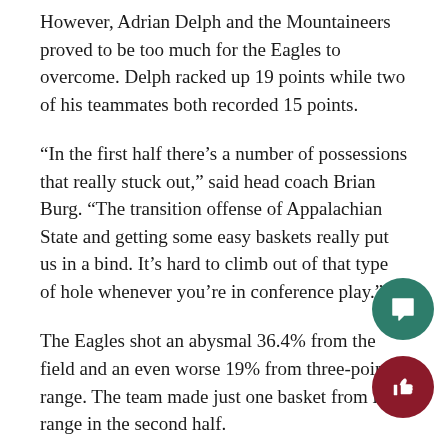However, Adrian Delph and the Mountaineers proved to be too much for the Eagles to overcome. Delph racked up 19 points while two of his teammates both recorded 15 points.
“In the first half there’s a number of possessions that really stuck out,” said head coach Brian Burg. “The transition offense of Appalachian State and getting some easy baskets really put us in a bind. It’s hard to climb out of that type of hole whenever you’re in conference play.”
The Eagles shot an abysmal 36.4% from the field and an even worse 19% from three-point range. The team made just one basket from long range in the second half.
Following the loss, the Eagles now sit at 11-11 (4-7 SBC) on the season. The team now sits at No. 11 in the Sun Belt rankings, with only Little Rock behind them.
GS will be back in action on Saturday as they take on Coastal Carolina on the road. Tip-off is set for 2 p.m. and